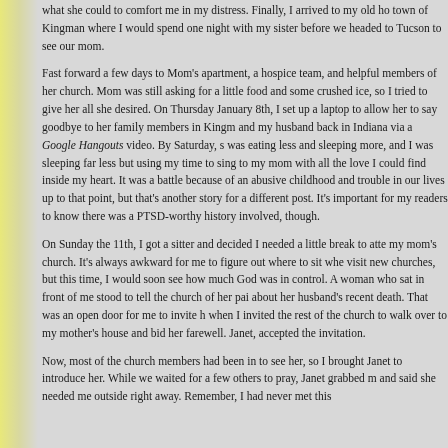what she could to comfort me in my distress. Finally, I arrived to my old hometown of Kingman where I would spend one night with my sister before we headed to Tucson to see our mom.
Fast forward a few days to Mom's apartment, a hospice team, and helpful members of her church. Mom was still asking for a little food and some crushed ice, so I tried to give her all she desired. On Thursday January 8th, I set up a laptop to allow her to say goodbye to her family members in Kingman and my husband back in Indiana via a Google Hangouts video. By Saturday, she was eating less and sleeping more, and I was sleeping far less but using my time to sing to my mom with all the love I could find inside my heart. It was a battle because of an abusive childhood and trouble in our lives up to that point, but that's another story for a different post. It's important for my readers to know there was a PTSD-worthy history involved, though.
On Sunday the 11th, I got a sitter and decided I needed a little break to attend my mom's church. It's always awkward for me to figure out where to sit when I visit new churches, but this time, I would soon see how much God was in control. A woman who sat in front of me stood to tell the church of her pain about her husband's recent death. That was an open door for me to invite her when I invited the rest of the church to walk over to my mother's house and bid her farewell. Janet, accepted the invitation.
Now, most of the church members had been in to see her, so I brought Janet to introduce her. While we waited for a few others to pray, Janet grabbed me and said she needed me outside right away. Remember, I had never met this woman before, but she hugged me and prayed over me.